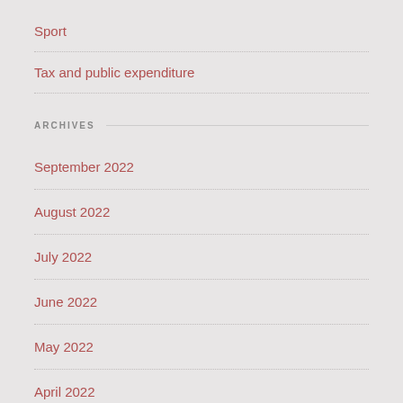Sport
Tax and public expenditure
ARCHIVES
September 2022
August 2022
July 2022
June 2022
May 2022
April 2022